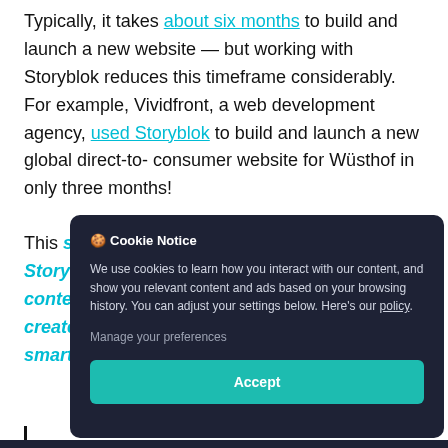Typically, it takes about six months to build and launch a new website — but working with Storyblok reduces this timeframe considerably. For example, Vividfront, a web development agency, used Storyblok to build and launch a new global direct-to-consumer website for Wüsthof in only three months!
This speed of implementation is thanks to Storyblok's Visual Editor, which supports in-context preview. In-context entry allows you to create content for your website, mobile app, and even smartwatches.
[Figure (screenshot): Cookie Notice modal overlay with dark navy background. Title: Cookie Notice. Body text: We use cookies to learn how you interact with our content, and show you relevant content and ads based on your browsing history. You can adjust your settings below. Here's our policy. Link: Manage your preferences. Button: Accept (teal/green).]